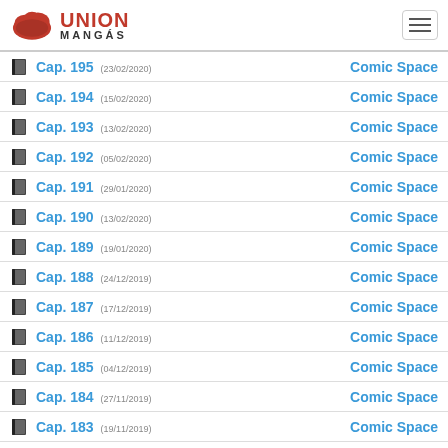Union Mangás
Cap. 195 (23/02/2020) - Comic Space
Cap. 194 (15/02/2020) - Comic Space
Cap. 193 (13/02/2020) - Comic Space
Cap. 192 (05/02/2020) - Comic Space
Cap. 191 (29/01/2020) - Comic Space
Cap. 190 (13/02/2020) - Comic Space
Cap. 189 (19/01/2020) - Comic Space
Cap. 188 (24/12/2019) - Comic Space
Cap. 187 (17/12/2019) - Comic Space
Cap. 186 (11/12/2019) - Comic Space
Cap. 185 (04/12/2019) - Comic Space
Cap. 184 (27/11/2019) - Comic Space
Cap. 183 (19/11/2019) - Comic Space